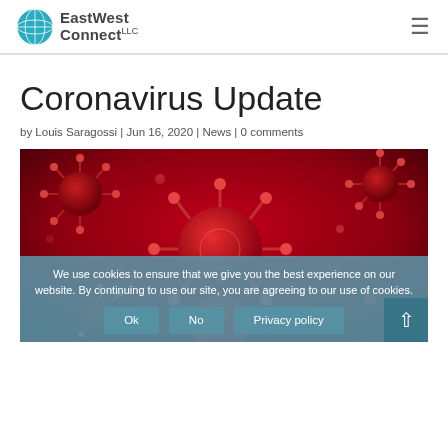EastWest Connect
Coronavirus Update
by Louis Saragossi | Jun 16, 2020 | News | 0 comments
[Figure (photo): Close-up illustration of red coronavirus particles on a dark red background]
We use cookies to ensure that we give you the best experience on our website. By continuing to use our site, you are agreeing to our use of cookies. Ok No Privacy policy